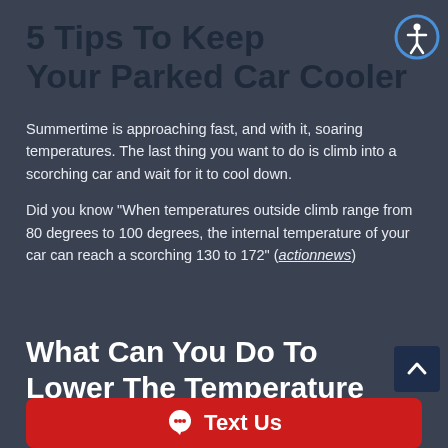5 Tips To Keep Your Parked Car Cooler
Summertime is approaching fast, and with it, soaring temperatures. The last thing you want to do is climb into a scorching car and wait for it to cool down.
Did you know "When temperatures outside climb range from 80 degrees to 100 degrees, the internal temperature of your car can reach a scorching 130 to 172" (actionnews)
What Can You Do To Lower The Temperature In Your C
Text Us